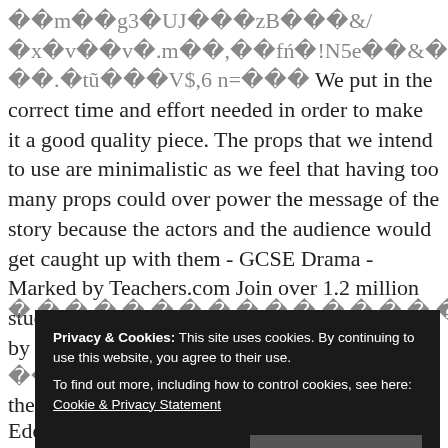��m��g3�UJ���zB���&/ �x�v��v�.m��,��fń�!N5e��&�+��%ſ]��� ��.�tũ���V$,6 n=��� We put in the correct time and effort needed in order to make it a good quality piece. The props that we intend to use are minimalistic as we feel that having too many props could over power the message of the story because the actors and the audience would get caught up with them - GCSE Drama - Marked by Teachers.com Join over 1.2 million students every month Accelerate your learning by 29% | ��slj���ZgR�RfEnx�px�./
[Figure (screenshot): Cookie consent overlay: black background box with white text reading 'Privacy & Cookies: This site uses cookies. By continuing to use this website, you agree to their use. To find out more, including how to control cookies, see here: Cookie & Privacy Statement' and a 'Close and accept' button.]
the most secure? All to keep her away from Eddie. 2 0 obj